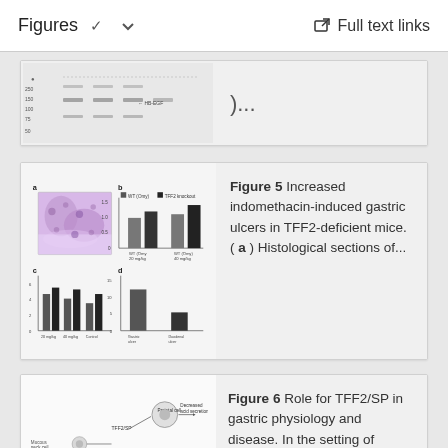Figures   Full text links
[Figure (other): Partial figure showing a blot/gel image (top portion cut off)]
)...
[Figure (other): Figure 5 image: histological section (purple stained tissue) and bar charts showing gastric ulcer data in TFF2-deficient mice]
Figure 5 Increased indomethacin-induced gastric ulcers in TFF2-deficient mice. ( a ) Histological sections of...
[Figure (other): Figure 6 image: diagram showing TFF2/SP role in gastric physiology including parietal cell, mucus neck cell, and stem cell with arrows]
Figure 6 Role for TFF2/SP in gastric physiology and disease. In the setting of injury...